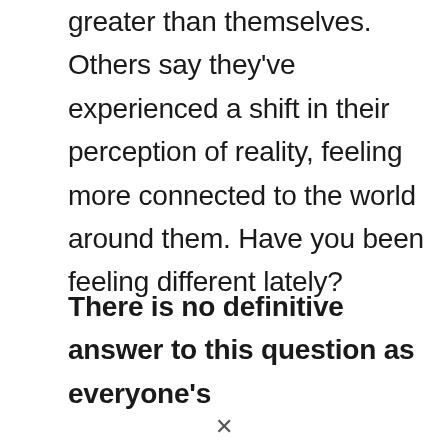greater than themselves. Others say they've experienced a shift in their perception of reality, feeling more connected to the world around them. Have you been feeling different lately?
There is no definitive answer to this question as everyone's experience is different.